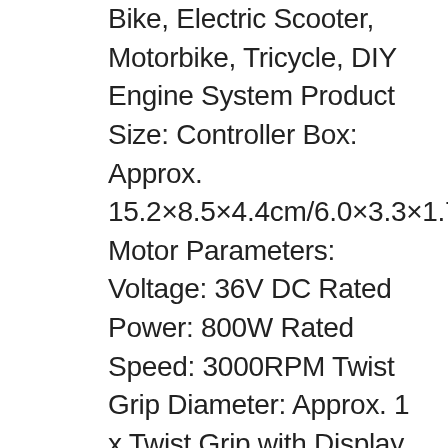Bike, Electric Scooter, Motorbike, Tricycle, DIY Engine System Product Size: Controller Box: Approx. 15.2×8.5×4.4cm/6.0×3.3×1.7in Motor Parameters: Voltage: 36V DC Rated Power: 800W Rated Speed: 3000RPM Twist Grip Diameter: Approx. 1 x Twist Grip with Display. Connect all the needed accessories before connecting to the power supply. Instead of leaving negative/neutral feedback or opening a dispute. Our listing price includes the value of goods, packaging cost, and export. Please check with your country's. We will reply your message within 48 hours. If you do not receive our reply within 48 hours, pls. Post a message again because sometimes our message system may block some emails. If you are satisfied with our service, pls. Our aim is to provide Level Customer Service, your